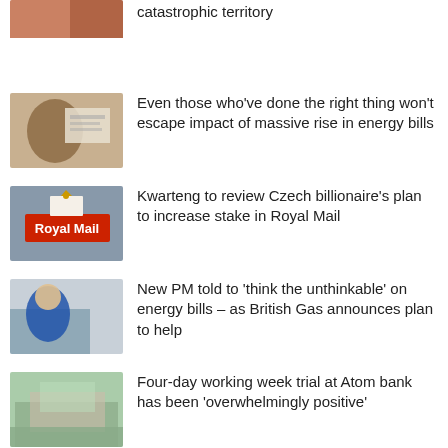[Figure (photo): Person holding something, partial top crop]
catastrophic territory
[Figure (photo): Person looking at energy bill document]
Even those who've done the right thing won't escape impact of massive rise in energy bills
[Figure (photo): Royal Mail sign on wall]
Kwarteng to review Czech billionaire's plan to increase stake in Royal Mail
[Figure (photo): Person wrapped in blue blanket on sofa]
New PM told to 'think the unthinkable' on energy bills – as British Gas announces plan to help
[Figure (photo): Building exterior with trees]
Four-day working week trial at Atom bank has been 'overwhelmingly positive'
[Figure (photo): Crowd of people, partial bottom crop]
TUC calls for raise of minimum wage to £15 an